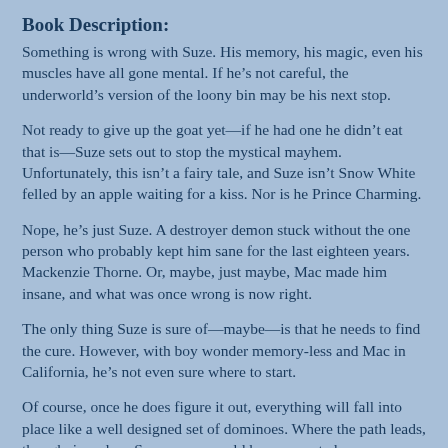Book Description:
Something is wrong with Suze. His memory, his magic, even his muscles have all gone mental. If he's not careful, the underworld's version of the loony bin may be his next stop.
Not ready to give up the goat yet—if he had one he didn't eat that is—Suze sets out to stop the mystical mayhem. Unfortunately, this isn't a fairy tale, and Suze isn't Snow White felled by an apple waiting for a kiss. Nor is he Prince Charming.
Nope, he's just Suze. A destroyer demon stuck without the one person who probably kept him sane for the last eighteen years. Mackenzie Thorne. Or, maybe, just maybe, Mac made him insane, and what was once wrong is now right.
The only thing Suze is sure of—maybe—is that he needs to find the cure. However, with boy wonder memory-less and Mac in California, he's not even sure where to start.
Of course, once he does figure it out, everything will fall into place like a well designed set of dominoes. Where the path leads, though, is a place Suze never would have expected.